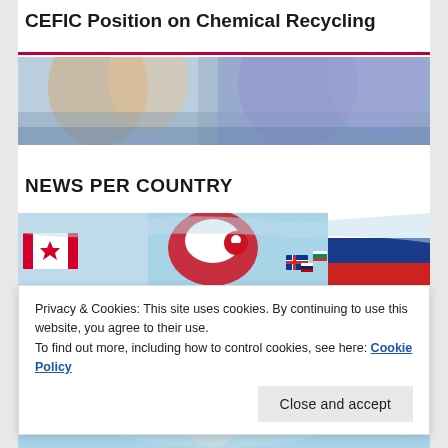CEFIC Position on Chemical Recycling
[Figure (photo): Photograph of people in colorful traditional costumes, cropped at the bottom of the page header area.]
NEWS PER COUNTRY
[Figure (map): World map showing countries with flag overlays, including Canada, Greenland, Russia, and other northern hemisphere countries visible.]
Privacy & Cookies: This site uses cookies. By continuing to use this website, you agree to their use.
To find out more, including how to control cookies, see here: Cookie Policy
Close and accept
[Figure (map): Lower portion of world map showing South America and other southern hemisphere regions with flag overlays.]